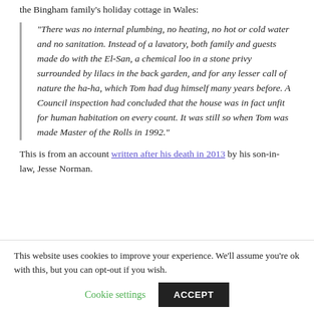the Bingham family's holiday cottage in Wales:
“There was no internal plumbing, no heating, no hot or cold water and no sanitation. Instead of a lavatory, both family and guests made do with the El-San, a chemical loo in a stone privy surrounded by lilacs in the back garden, and for any lesser call of nature the ha-ha, which Tom had dug himself many years before. A Council inspection had concluded that the house was in fact unfit for human habitation on every count. It was still so when Tom was made Master of the Rolls in 1992.”
This is from an account written after his death in 2013 by his son-in-law, Jesse Norman.
This website uses cookies to improve your experience. We'll assume you're ok with this, but you can opt-out if you wish.